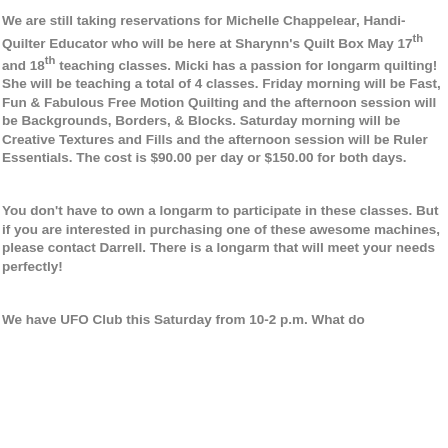We are still taking reservations for Michelle Chappelear, Handi-Quilter Educator who will be here at Sharynn's Quilt Box May 17th and 18th teaching classes. Micki has a passion for longarm quilting! She will be teaching a total of 4 classes. Friday morning will be Fast, Fun & Fabulous Free Motion Quilting and the afternoon session will be Backgrounds, Borders, & Blocks. Saturday morning will be Creative Textures and Fills and the afternoon session will be Ruler Essentials. The cost is $90.00 per day or $150.00 for both days.
You don't have to own a longarm to participate in these classes. But if you are interested in purchasing one of these awesome machines, please contact Darrell. There is a longarm that will meet your needs perfectly!
We have UFO Club this Saturday from 10-2 p.m. What do